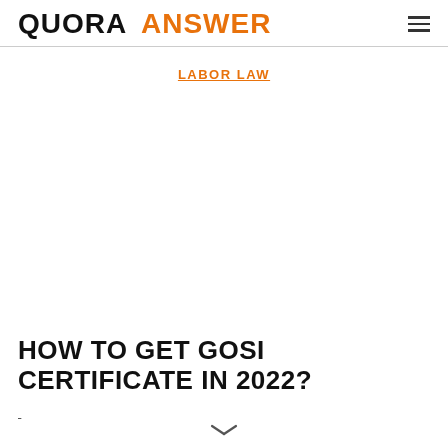QUORA ANSWER
LABOR LAW
HOW TO GET GOSI CERTIFICATE IN 2022?